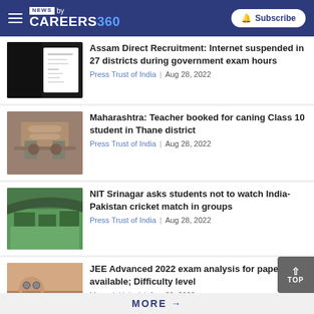NEWS by CAREERS360 | Subscribe
[Figure (photo): Document/paper with checklist]
Assam Direct Recruitment: Internet suspended in 27 districts during government exam hours
Press Trust of India | Aug 28, 2022
[Figure (photo): Hands in handcuffs]
Maharashtra: Teacher booked for caning Class 10 student in Thane district
Press Trust of India | Aug 28, 2022
[Figure (photo): Aerial view of NIT Srinagar campus]
NIT Srinagar asks students not to watch India-Pakistan cricket match in groups
Press Trust of India | Aug 28, 2022
[Figure (photo): Student with glasses working on laptop]
JEE Advanced 2022 exam analysis for paper 1 available; Difficulty level
Mayank Uniyal | Aug 28, 2022
MORE →